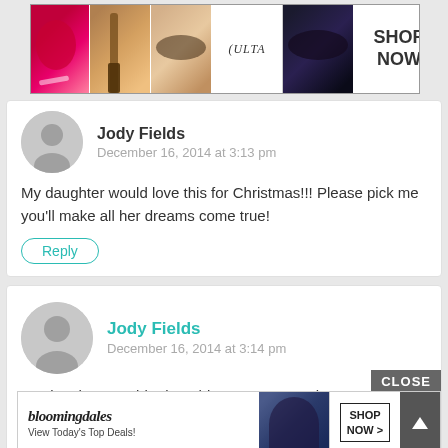[Figure (photo): ULTA beauty advertisement banner showing makeup images and 'SHOP NOW' text]
Jody Fields
December 16, 2014 at 3:13 pm
My daughter would love this for Christmas!!! Please pick me you'll make all her dreams come true!
Reply
Jody Fields
December 16, 2014 at 3:14 pm
My daughter would adore this Lego set! It's do cute!!!
Reply
[Figure (photo): Bloomingdales advertisement banner showing 'View Today's Top Deals! SHOP NOW >' with image of woman in hat]